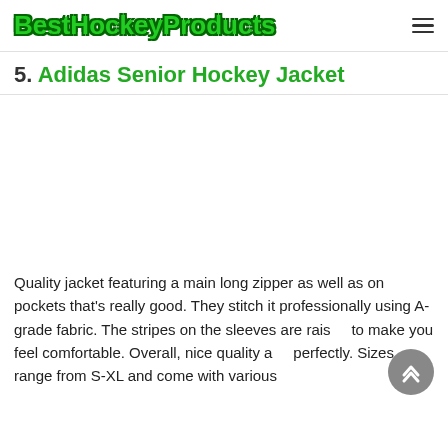BestHockeyProducts
5. Adidas Senior Hockey Jacket
[Figure (photo): Image area for Adidas Senior Hockey Jacket (blank/white space)]
Quality jacket featuring a main long zipper as well as on pockets that's really good. They stitch it professionally using A-grade fabric. The stripes on the sleeves are raised to make you feel comfortable. Overall, nice quality an perfectly. Sizes range from S-XL and come with various